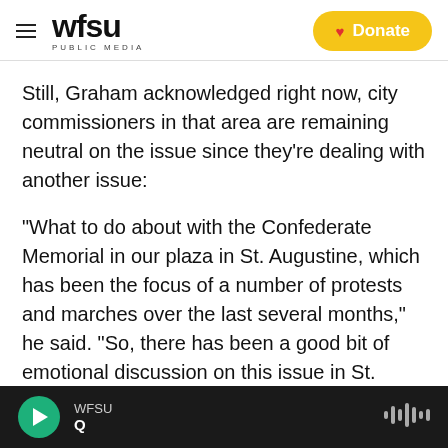WFSU PUBLIC MEDIA | Donate
Still, Graham acknowledged right now, city commissioners in that area are remaining neutral on the issue since they’re dealing with another issue:
“What to do about with the Confederate Memorial in our plaza in St. Augustine, which has been the focus of a number of protests and marches over the last several months,” he said. “So, there has been a good bit of emotional discussion on this issue in St. Augustine.”
WFSU Q